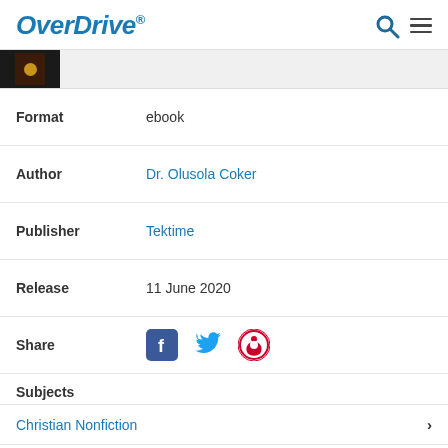OverDrive
[Figure (screenshot): Book thumbnail preview image on grey background]
| Format | ebook |
| Author | Dr. Olusola Coker |
| Publisher | Tektime |
| Release | 11 June 2020 |
| Share | [Facebook, Twitter, Pinterest icons] |
Subjects
Christian Nonfiction
Religion & Spirituality